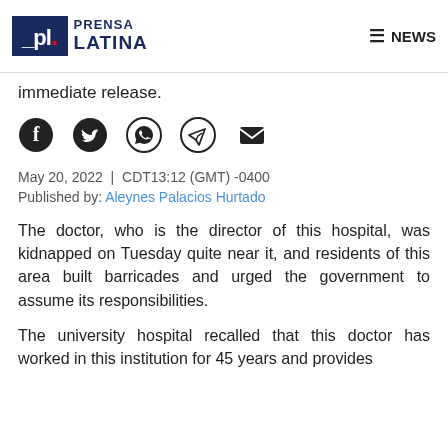Prensa Latina | NEWS
immediate release.
[Figure (infographic): Social sharing icons: Facebook, Twitter, WhatsApp, Telegram, Email]
May 20, 2022 | CDT13:12 (GMT) -0400
Published by: Aleynes Palacios Hurtado
The doctor, who is the director of this hospital, was kidnapped on Tuesday quite near it, and residents of this area built barricades and urged the government to assume its responsibilities.
The university hospital recalled that this doctor has worked in this institution for 45 years and provides